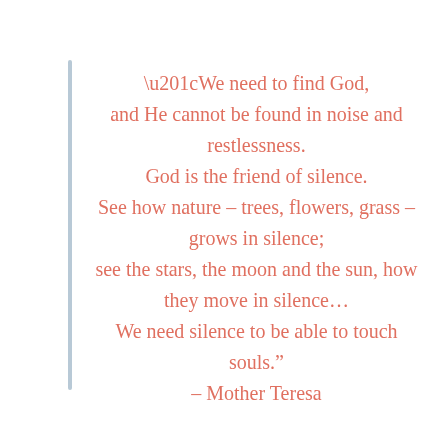“We need to find God, and He cannot be found in noise and restlessness. God is the friend of silence. See how nature – trees, flowers, grass – grows in silence; see the stars, the moon and the sun, how they move in silence… We need silence to be able to touch souls.” – Mother Teresa